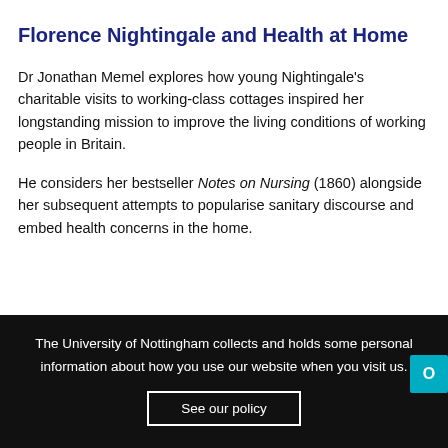Florence Nightingale and Health at Home
Dr Jonathan Memel explores how young Nightingale's charitable visits to working-class cottages inspired her longstanding mission to improve the living conditions of working people in Britain.
He considers her bestseller Notes on Nursing (1860) alongside her subsequent attempts to popularise sanitary discourse and embed health concerns in the home.
The University of Nottingham collects and holds some personal information about how you use our website when you visit us.
See our policy